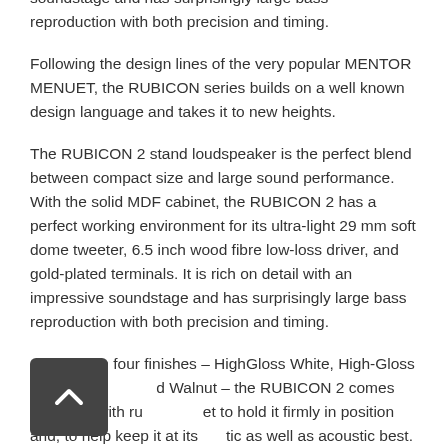inch wood fibre low-loss driver, and gold-plated terminals. It is rich on detail with an impressive soundstage and has surprisingly large bass reproduction with both precision and timing.
Following the design lines of the very popular MENTOR MENUET, the RUBICON series builds on a well known design language and takes it to new heights.
The RUBICON 2 stand loudspeaker is the perfect blend between compact size and large sound performance. With the solid MDF cabinet, the RUBICON 2 has a perfect working environment for its ultra-light 29 mm soft dome tweeter, 6.5 inch wood fibre low-loss driver, and gold-plated terminals. It is rich on detail with an impressive soundstage and has surprisingly large bass reproduction with both precision and timing.
Available in four finishes – HighGloss White, High-Gloss Black, Rosewood and Walnut – the RUBICON 2 comes complete with rubber feet to hold it firmly in position and, to help keep it at its aesthetic as well as acoustic best.